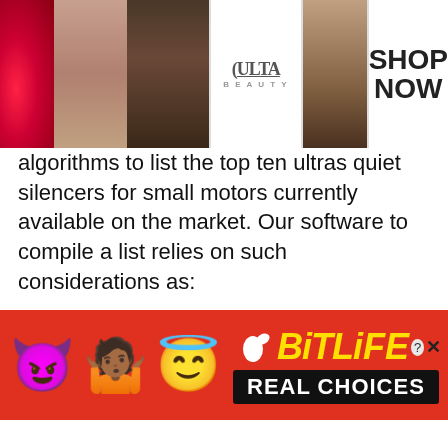[Figure (illustration): Top banner advertisement for Ulta Beauty showing makeup images (lips, brush, eyes), Ulta logo, and SHOP NOW call to action]
algorithms to list the top ten ultras quiet silencers for small motors currently available on the market. Our software to compile a list relies on such considerations as:
Attributes & Requirements of brand value
Client sales price reviews & ratings
Performance and endurance
We should not neglect that maintaining up-to date product content is our priority; thus
[Figure (illustration): Bottom banner advertisement for BitLife app showing devil emoji, person shrugging emoji, angel emoji, sperm icon, BitLife logo in yellow, and REAL CHOICES text on black background]